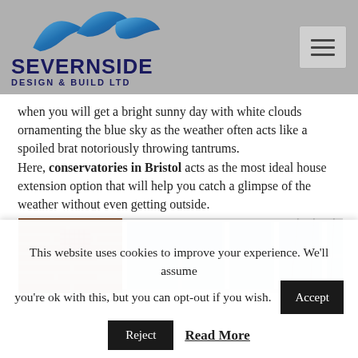[Figure (logo): Severnside Design & Build Ltd logo with blue ribbon/wave SVG graphic above bold navy text]
when you will get a bright sunny day with white clouds ornamenting the blue sky as the weather often acts like a spoiled brat notoriously throwing tantrums. Here, conservatories in Bristol acts as the most ideal house extension option that will help you catch a glimpse of the weather without even getting outside.
[Figure (photo): Photograph of a conservatory structure showing brick wall on left and white-framed glass panels with blue sky visible]
This website uses cookies to improve your experience. We'll assume you're ok with this, but you can opt-out if you wish.